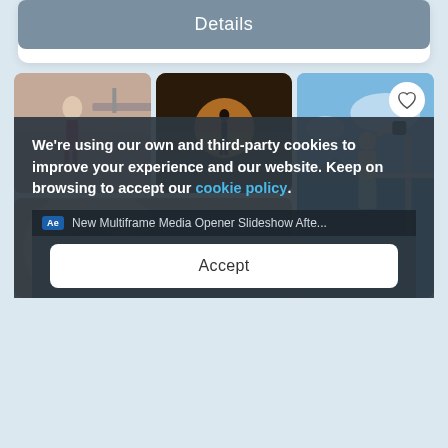[Figure (screenshot): A 'Details' button with grayish-blue background and white text]
[Figure (photo): Photo collage grid showing: a woman in red pants by a bridge, a person silhouetted at sunset, a man on a sailboat throwing a bag, and a blurred close-up of a person with sunglasses]
We're using our own and third-party cookies to improve your experience and our website. Keep on browsing to accept our cookie policy.
New Multiframe Media Opener Slideshow Afte...
Accept